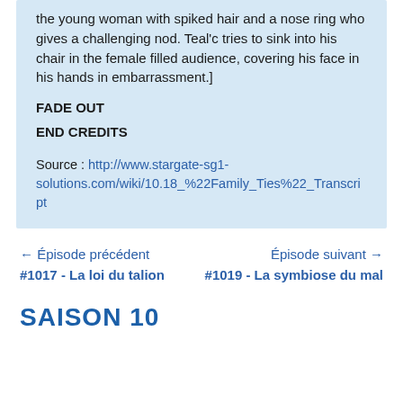the young woman with spiked hair and a nose ring who gives a challenging nod. Teal'c tries to sink into his chair in the female filled audience, covering his face in his hands in embarrassment.]
FADE OUT
END CREDITS
Source : http://www.stargate-sg1-solutions.com/wiki/10.18_%22Family_Ties%22_Transcript
← Épisode précédent #1017 - La loi du talion
Épisode suivant → #1019 - La symbiose du mal
SAISON 10